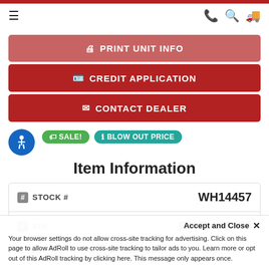Navigation bar with hamburger menu, phone, search, and delivery icons
[Figure (screenshot): Red button: PRINT UNIT INFO with printer icon]
[Figure (screenshot): Red button: CREDIT APPLICATION with ID card icon]
[Figure (screenshot): Red button: CONTACT DEALER with envelope icon]
[Figure (screenshot): Blue accessibility icon button (wheelchair symbol)]
SALE! BLOW OUT PRICE
Item Information
| Field | Value |
| --- | --- |
| STOCK # | WH14457 |
| VIN: | R0N14K1073 |
Accept and Close ×
Your browser settings do not allow cross-site tracking for advertising. Click on this page to allow AdRoll to use cross-site tracking to tailor ads to you. Learn more or opt out of this AdRoll tracking by clicking here. This message only appears once.